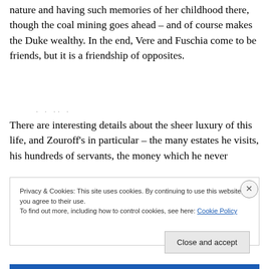nature and having such memories of her childhood there, though the coal mining goes ahead – and of course makes the Duke wealthy. In the end, Vere and Fuschia come to be friends, but it is a friendship of opposites.
There are interesting details about the sheer luxury of this life, and Zouroff's in particular – the many estates he visits, his hundreds of servants, the money which he never
Privacy & Cookies: This site uses cookies. By continuing to use this website, you agree to their use.
To find out more, including how to control cookies, see here: Cookie Policy